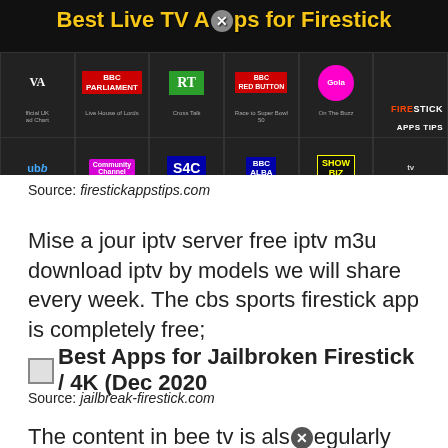[Figure (screenshot): Screenshot of a Firestick app grid showing various TV channels including BBC Parliament, RT, BBC Red Button, and others. Title reads 'Best Live TV Apps for Firestick'. Firestick Apps Tips branding visible.]
Source: firestickappstips.com
Mise a jour iptv server free iptv m3u download iptv by models we will share every week. The cbs sports firestick app is completely free;
[Figure (screenshot): Broken image placeholder for 'Best Apps for Jailbroken Firestick / 4K (Dec 2020']
Source: jailbreak-firestick.com
The content in bee tv is also regularly updated, so you